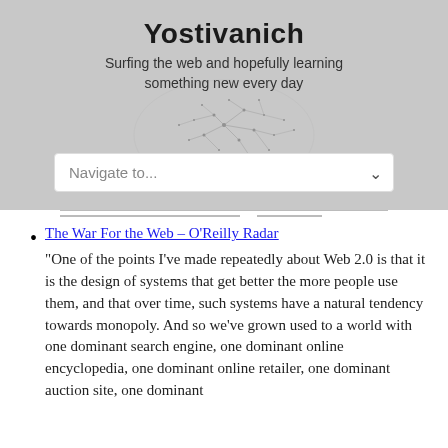Yostivanich
Surfing the web and hopefully learning something new every day
[Figure (other): Network/graph visualization with scattered dots and connecting lines, semi-transparent overlay on header background]
The War For the Web – O'Reilly Radar
"One of the points I've made repeatedly about Web 2.0 is that it is the design of systems that get better the more people use them, and that over time, such systems have a natural tendency towards monopoly. And so we've grown used to a world with one dominant search engine, one dominant online encyclopedia, one dominant online retailer, one dominant auction site, one dominant